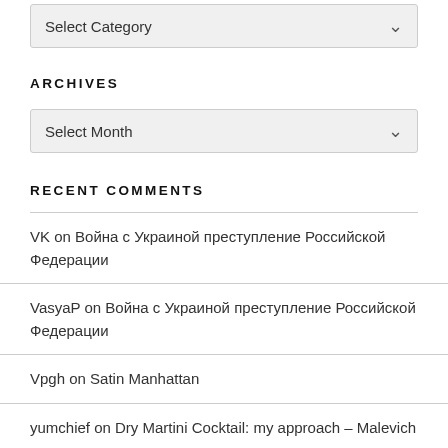Select Category
ARCHIVES
Select Month
RECENT COMMENTS
VK on Война с Украиной преступление Российской Федерации
VasyaP on Война с Украиной преступление Российской Федерации
Vpgh on Satin Manhattan
yumchief on Dry Martini Cocktail: my approach – Malevich